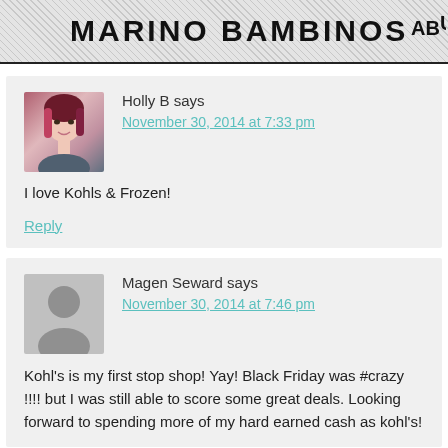MARINO BAMBINOS
[Figure (photo): Holly B profile photo - woman with dark red/pink highlighted hair]
Holly B says
November 30, 2014 at 7:33 pm
I love Kohls & Frozen!
Reply
[Figure (photo): Generic anonymous user silhouette avatar]
Magen Seward says
November 30, 2014 at 7:46 pm
Kohl's is my first stop shop! Yay! Black Friday was #crazy !!!! but I was still able to score some great deals. Looking forward to spending more of my hard earned cash as kohl's!